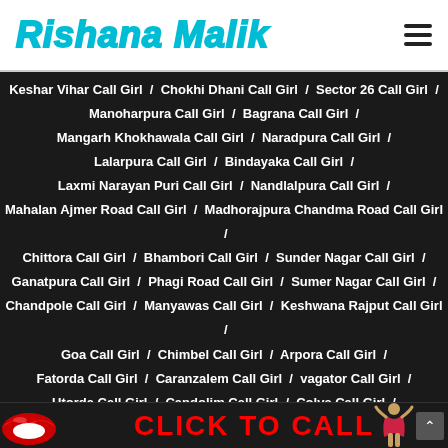Rishana Malik
Keshar Vihar Call Girl / Chokhi Dhani Call Girl / Sector 26 Call Girl / Manoharpura Call Girl / Bagrana Call Girl / Mangarh Khokhawala Call Girl / Naradpura Call Girl / Lalarpura Call Girl / Bindayaka Call Girl / Laxmi Narayan Puri Call Girl / Nandlalpura Call Girl / Mahalan Ajmer Road Call Girl / Madhorajpura Chandma Road Call Girl / Chittora Call Girl / Bhambori Call Girl / Sunder Nagar Call Girl / Ganatpura Call Girl / Phagi Road Call Girl / Sumer Nagar Call Girl / Chandpole Call Girl / Manyawas Call Girl / Keshwana Rajput Call Girl / Goa Call Girl / Chimbel Call Girl / Arpora Call Girl / Fatorda Call Girl / Caranzalem Call Girl / vagator Call Girl / Utorda Call Girl / Candolim Call Girl / Colva Call Girl / Benaulim Call Girl / Anjuna Call Girl / Miramar Call Girl /
[Figure (infographic): Click to Call banner with red lips icon on left and female figure on right, red bold text CLICK TO CALL]